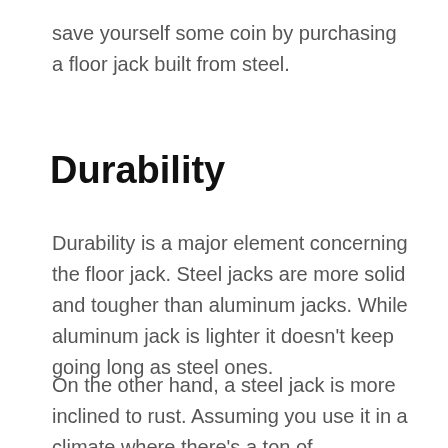save yourself some coin by purchasing a floor jack built from steel.
Durability
Durability is a major element concerning the floor jack. Steel jacks are more solid and tougher than aluminum jacks. While aluminum jack is lighter it doesn’t keep going long as steel ones.
On the other hand, a steel jack is more inclined to rust. Assuming you use it in a climate where there’s a ton of dampness